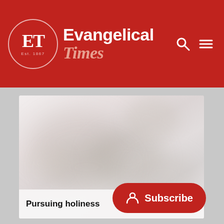Evangelical Times
[Figure (photo): Blurred/foggy light-coloured background image, appears to show an outdoor or nature scene with soft muted tones]
Pursuing holiness